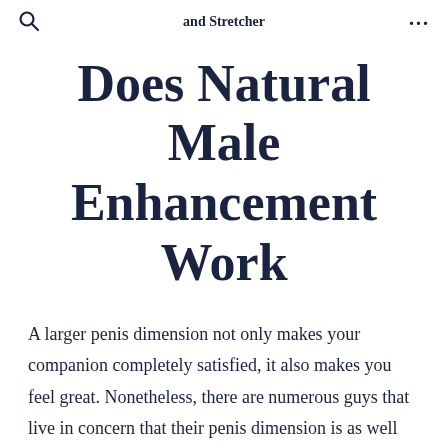Medical Penis Extender and Stretcher
Does Natural Male Enhancement Work
A larger penis dimension not only makes your companion completely satisfied, it also makes you feel great. Nonetheless, there are numerous guys that live in concern that their penis dimension is as well tiny. The good news is that there are means to grow your penis without making use of tablets in a risk-free as well as efficient means.